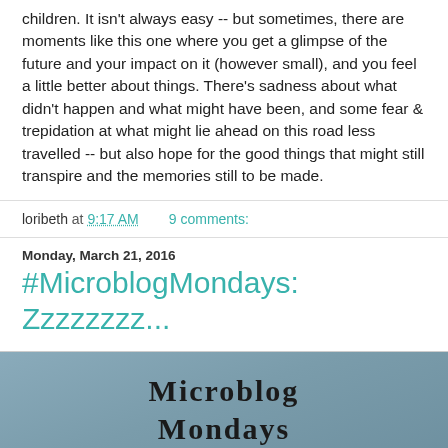children. It isn't always easy -- but sometimes, there are moments like this one where you get a glimpse of the future and your impact on it (however small), and you feel a little better about things. There's sadness about what didn't happen and what might have been, and some fear & trepidation at what might lie ahead on this road less travelled -- but also hope for the good things that might still transpire and the memories still to be made.
loribeth at 9:17 AM   9 comments:
Monday, March 21, 2016
#MicroblogMondays: Zzzzzzzz...
[Figure (illustration): Microblog Mondays logo image with text 'MICROBLOG MONDAYS WRITE IN YOUR...' on a blue-grey gradient background]